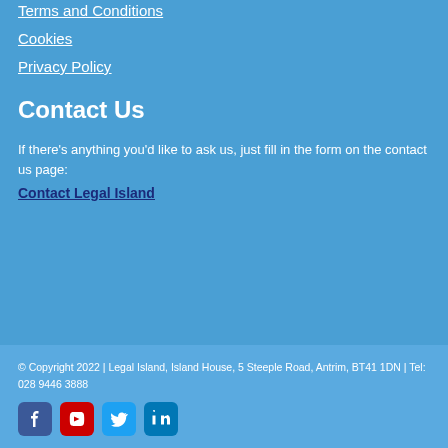Terms and Conditions
Cookies
Privacy Policy
Contact Us
If there's anything you'd like to ask us, just fill in the form on the contact us page:
Contact Legal Island
© Copyright 2022 | Legal Island, Island House, 5 Steeple Road, Antrim, BT41 1DN | Tel: 028 9446 3888